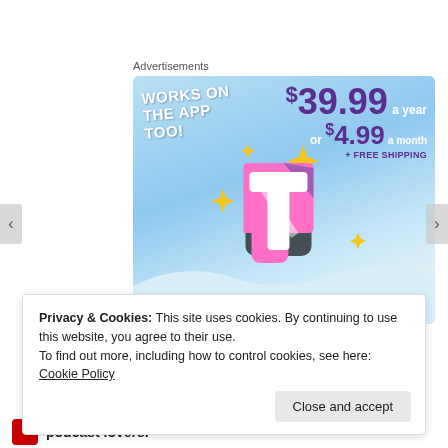Advertisements
[Figure (screenshot): Tumblr Ad-Free Browsing advertisement. Light blue sky background with Tumblr 't' logo. Text: WORKS ON THE APP TOO!, $39.99 a year or $4.99 a month + FREE SHIPPING, TUMBLR AD-FREE BROWSING. Yellow sparkle stars decorating the image.]
Privacy & Cookies: This site uses cookies. By continuing to use this website, you agree to their use.
To find out more, including how to control cookies, see here: Cookie Policy
Close and accept
podcast lovers.